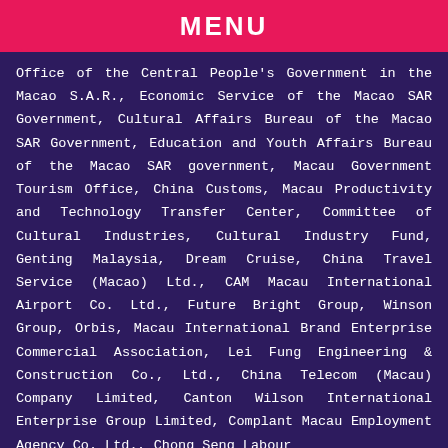MENU
Office of the Central People's Government in the Macao S.A.R., Economic Service of the Macao SAR Government, Cultural Affairs Bureau of the Macao SAR Government, Education and Youth Affairs Bureau of the Macao SAR government, Macau Government Tourism Office, China Customs, Macau Productivity and Technology Transfer Center, Committee of Cultural Industries, Cultural Industry Fund, Genting Malaysia, Dream Cruise, China Travel Service (Macao) Ltd., CAM Macau International Airport Co. Ltd., Future Bright Group, Winson Group, Orbis, Macau International Brand Enterprise Commercial Association, Lei Fung Engineering & Construction Co., Ltd., China Telecom (Macau) Company Limited, Canton Wilson International Enterprise Group Limited, Complant Macau Employment Agency Co. Ltd., Chong Seng Labour